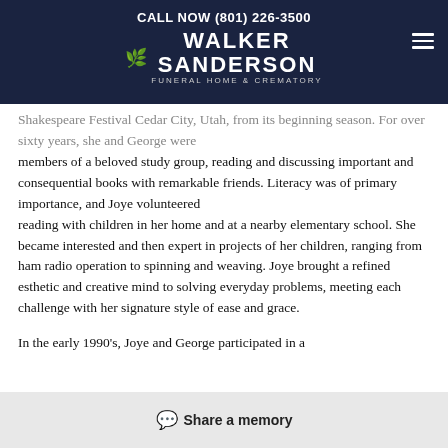CALL NOW (801) 226-3500
[Figure (logo): Walker Sanderson Funeral Home & Crematory logo with leaf/tree icon on dark navy background]
Shakespeare Festival Cedar City, Utah, from its beginning season. For over sixty years, she and George were members of a beloved study group, reading and discussing important and consequential books with remarkable friends. Literacy was of primary importance, and Joye volunteered reading with children in her home and at a nearby elementary school. She became interested and then expert in projects of her children, ranging from ham radio operation to spinning and weaving. Joye brought a refined esthetic and creative mind to solving everyday problems, meeting each challenge with her signature style of ease and grace.
In the early 1990's, Joye and George participated in a
Share a memory